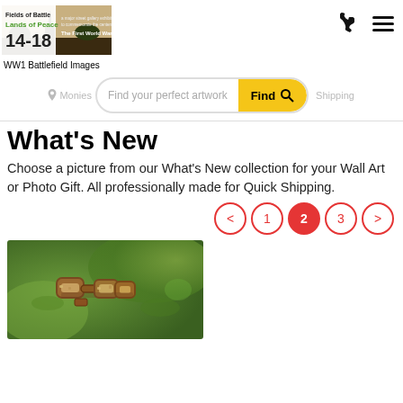[Figure (logo): Fields of Battle Lands of Peace 14-18 exhibition banner with landscape silhouette and tagline 'a major street gallery exhibition to commemorate the centenary of The First World War']
WW1 Battlefield Images
[Figure (screenshot): Navigation bar with phone icon and hamburger menu icon]
[Figure (screenshot): Search bar with placeholder 'Find your perfect artwork' and yellow Find button with magnifier icon; navigation links for Monies and Shipping on either side]
What's New
Choose a picture from our What's New collection for your Wall Art or Photo Gift. All professionally made for Quick Shipping.
[Figure (screenshot): Pagination controls: < 1 2 (active, red) 3 >]
[Figure (photo): Close-up photo of rusty old military chain links or buckle on green foliage background]